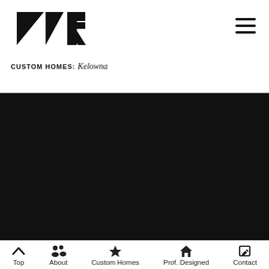[Figure (logo): MR Custom Homes Kelowna logo with geometric black shapes and script text]
[Figure (other): Hamburger menu icon (three horizontal lines)]
[Figure (photo): Large black/dark hero image area]
Top  About  Custom Homes  Prof. Designed  Contact